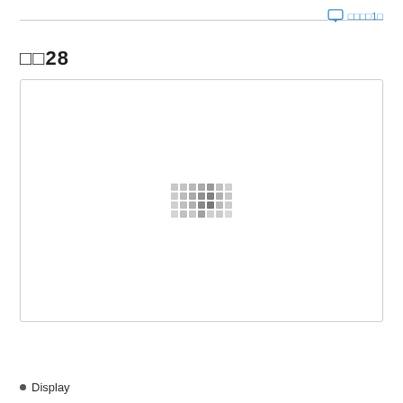□□□□1□
□□28
[Figure (other): Loading placeholder image box with a small grid of gray squares in the center, indicating an image that has not yet loaded.]
Display